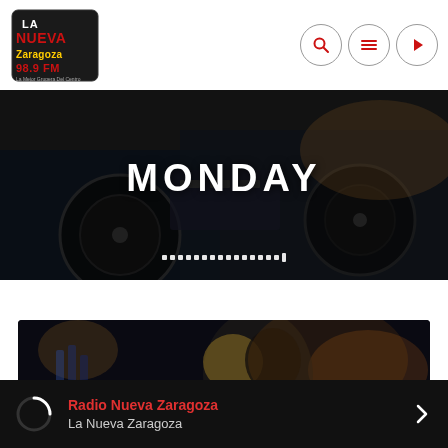[Figure (logo): La Nueva Zaragoza 98.9 FM radio station logo with stylized red and yellow text]
[Figure (screenshot): Navigation icons: search, menu (hamburger), and play button in circles]
[Figure (photo): Dark photo of DJ equipment/turntables with MONDAY text overlay and dot navigation indicators]
[Figure (photo): Dark photo of couple at night event/club scene]
Radio Nueva Zaragoza
La Nueva Zaragoza